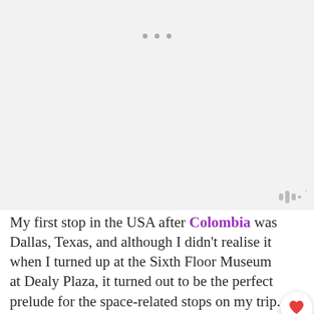[Figure (screenshot): Gray placeholder area for embedded image, with three gray dots near the top center and a waveform icon at bottom right]
My first stop in the USA after Colombia was Dallas, Texas, and although I didn't realise it when I turned up at the Sixth Floor Museum at Dealy Plaza, it turned out to be the perfect prelude for the space-related stops on my trip.
Peering from the window of the Texas Book Depository where Lee Harvey Oswald
[Figure (screenshot): Advertisement banner: cookies for kids cancer - turn your COOKIES into a CURE LEARN HOW]
[Figure (screenshot): What's Next callout with icon: The Best Travel...]